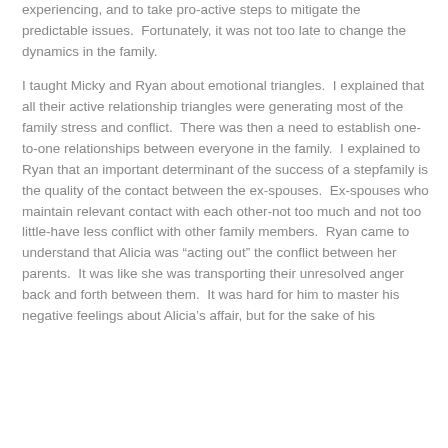experiencing, and to take pro-active steps to mitigate the predictable issues.  Fortunately, it was not too late to change the dynamics in the family.
I taught Micky and Ryan about emotional triangles.  I explained that all their active relationship triangles were generating most of the family stress and conflict.  There was then a need to establish one-to-one relationships between everyone in the family.  I explained to Ryan that an important determinant of the success of a stepfamily is the quality of the contact between the ex-spouses.  Ex-spouses who maintain relevant contact with each other-not too much and not too little-have less conflict with other family members.  Ryan came to understand that Alicia was “acting out” the conflict between her parents.  It was like she was transporting their unresolved anger back and forth between them.  It was hard for him to master his negative feelings about Alicia’s affair, but for the sake of his